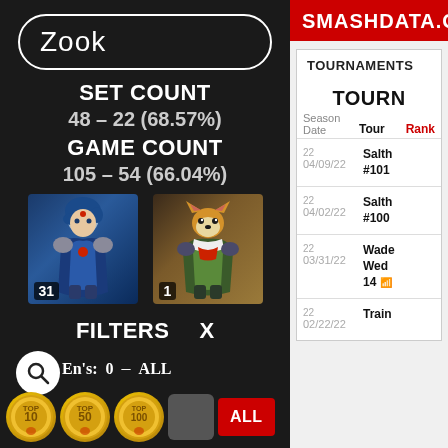Zook
SET COUNT
48 - 22 (68.57%)
GAME COUNT
105 - 54 (66.04%)
[Figure (illustration): Marth character sprite with badge 31]
[Figure (illustration): Fox character sprite with badge 1]
FILTERS   X
En[search]'s: 0 - ALL
TOP 10  TOP 50  TOP 100  [square]  ALL
SMASHDATA.GG
TOURNAMENTS
TOURN
Season Date  Tour Rank
| Season | Date | Tournament | Rank |
| --- | --- | --- | --- |
| 22 | 04/09/22 | Salth #101 |  |
| 22 | 04/02/22 | Salth #100 |  |
| 22 | 03/31/22 | Wade Wedn 14 |  |
| 22 | 02/22/22 | Train |  |